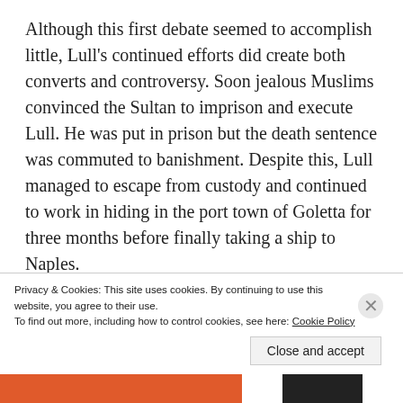Although this first debate seemed to accomplish little, Lull's continued efforts did create both converts and controversy. Soon jealous Muslims convinced the Sultan to imprison and execute Lull. He was put in prison but the death sentence was commuted to banishment. Despite this, Lull managed to escape from custody and continued to work in hiding in the port town of Goletta for three months before finally taking a ship to Naples.
Lull would set out again nearly a decade later in a series of missionary journeys. He went to Cyprus
Privacy & Cookies: This site uses cookies. By continuing to use this website, you agree to their use.
To find out more, including how to control cookies, see here: Cookie Policy
Close and accept